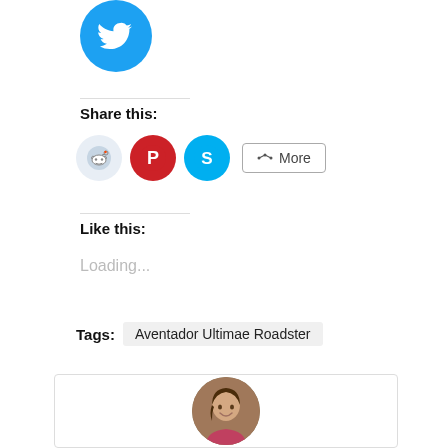[Figure (logo): Twitter bird icon in a blue circle]
Share this:
[Figure (infographic): Social share buttons: Reddit (light blue circle), Pinterest (red circle), Skype (blue circle), and a More button]
Like this:
Loading...
Tags:   Aventador Ultimae Roadster
[Figure (photo): Circular profile photo of a young woman with dark hair smiling]